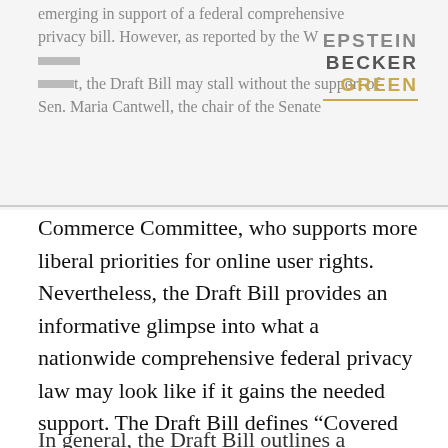emerging in support of a federal comprehensive privacy bill. However, as reported by the Washington Post, the Draft Bill may stall without the support of Sen. Maria Cantwell, the chair of the Senate
[Figure (logo): Epstein Becker Green law firm logo with three stacked words in grey/gold colors]
Commerce Committee, who supports more liberal priorities for online user rights.  Nevertheless, the Draft Bill provides an informative glimpse into what a nationwide comprehensive federal privacy law may look like if it gains the needed support. The Draft Bill defines “Covered Entity” broadly, to include every entity or person subject to regulation of consumer protection laws under the FTC Act, common carriers, and “an organization not organized to carry on business for their own profit or that of their members.”
In general, the Draft Bill outlines a comprehensiv